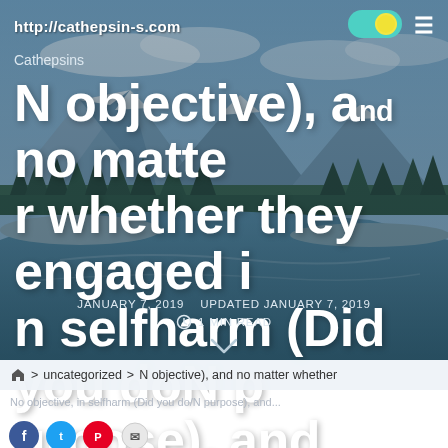http://cathepsin-s.com
Cathepsins
N objective), and no matter whether they engaged in selfharm (Did you doN purpose), and
JANUARY 7, 2019   UPDATED JANUARY 7, 2019   1 MIN READ
> uncategorized > N objective), and no matter whether
social share icons